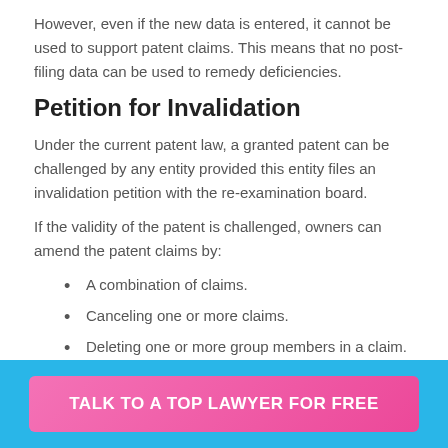However, even if the new data is entered, it cannot be used to support patent claims. This means that no post-filing data can be used to remedy deficiencies.
Petition for Invalidation
Under the current patent law, a granted patent can be challenged by any entity provided this entity files an invalidation petition with the re-examination board.
If the validity of the patent is challenged, owners can amend the patent claims by:
A combination of claims.
Canceling one or more claims.
Deleting one or more group members in a claim.
TALK TO A TOP LAWYER FOR FREE